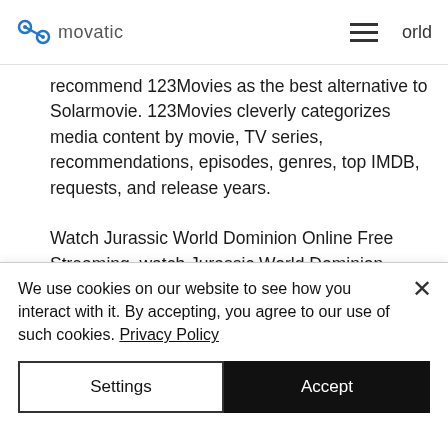movatic   ≡   orld
recommend 123Movies as the best alternative to Solarmovie. 123Movies cleverly categorizes media content by movie, TV series, recommendations, episodes, genres, top IMDB, requests, and release years.
Watch Jurassic World Dominion Online Free Streaming, watch Jurassic World Dominion online in full streaming HD quality, and watch your favorite movies The latest Jurassic World Dominion movies. Come with us! !!
We use cookies on our website to see how you interact with it. By accepting, you agree to our use of such cookies. Privacy Policy
Settings   Accept